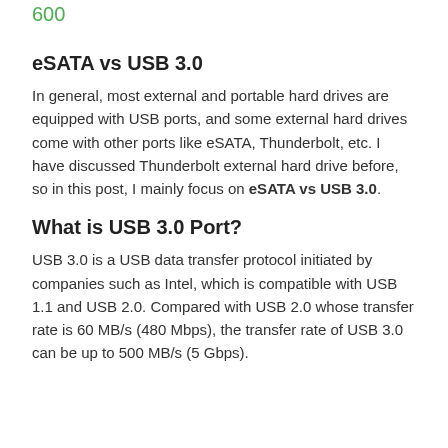600
eSATA vs USB 3.0
In general, most external and portable hard drives are equipped with USB ports, and some external hard drives come with other ports like eSATA, Thunderbolt, etc. I have discussed Thunderbolt external hard drive before, so in this post, I mainly focus on eSATA vs USB 3.0.
What is USB 3.0 Port?
USB 3.0 is a USB data transfer protocol initiated by companies such as Intel, which is compatible with USB 1.1 and USB 2.0. Compared with USB 2.0 whose transfer rate is 60 MB/s (480 Mbps), the transfer rate of USB 3.0 can be up to 500 MB/s (5 Gbps).